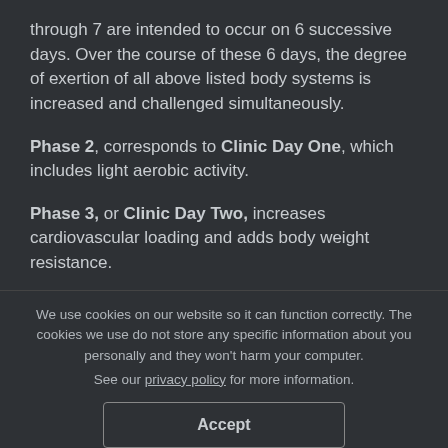through 7 are intended to occur on 6 successive days. Over the course of these 6 days, the degree of exertion of all above listed body systems is increased and challenged simultaneously.
Phase 2, corresponds to Clinic Day One, which includes light aerobic activity.
Phase 3, or Clinic Day Two, increases cardiovascular loading and adds body weight resistance.
We use cookies on our website so it can function correctly. The cookies we use do not store any specific information about you personally and they won't harm your computer. See our privacy policy for more information.
Accept